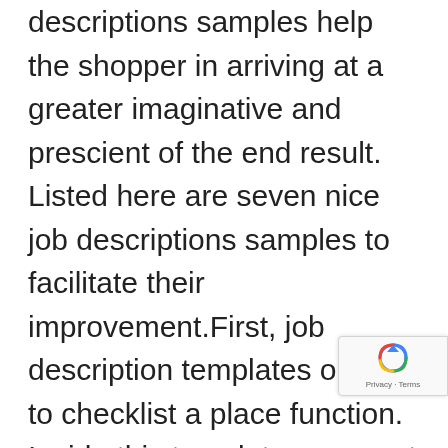descriptions samples help the shopper in arriving at a greater imaginative and prescient of the end result. Listed here are seven nice job descriptions samples to facilitate their improvement.First, job description templates ought to checklist a place function. Inside this template you must summarize the most important features and obligations of the job, summarize reporting relationships, and summarize interactions with others.Second, templates ought to checklist place features, each important job features and different job features. An outline of important job features helps you and the worker(s) determine an important job features, and, inside the context of the American with Disabilities Act, it lets you determine whether or not or not an worker with a incapacity will be capable to carry out these important job features